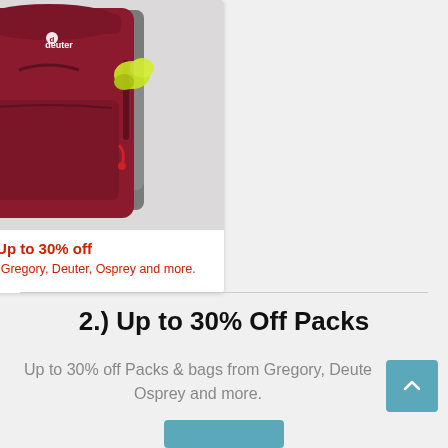[Figure (photo): A maroon/dark red hiking backpack (Deuter brand) with gray frame and straps, shown on a light gray background. The pack has yellow-green accessories visible on the side and orange buckle hardware.]
Up to 30% off
Packs & bags from Gregory, Deuter, Osprey and more.
2.) Up to 30% Off Packs
Up to 30% off Packs & bags from Gregory, Deuter, Osprey and more.